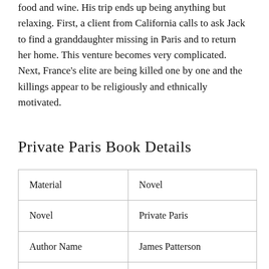food and wine. His trip ends up being anything but relaxing. First, a client from California calls to ask Jack to find a granddaughter missing in Paris and to return her home. This venture becomes very complicated. Next, France's elite are being killed one by one and the killings appear to be religiously and ethnically motivated.
Private Paris Book Details
| Material | Novel |
| Novel | Private Paris |
| Author Name | James Patterson |
| Book Format | PDF/DOC |